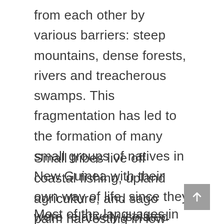from each other by various barriers: steep mountains, dense forests, rivers and treacherous swamps. This fragmentation has led to the formation of many small groups of natives in New Guinea with their own way of life, since they were relatively isolated from each other for millennia.
Small tribes live off coastal fishing, upland agriculture, and sago palm harvesting in low-lying swamps. For many centuries, each of these small groups has developed its own culture and often developed its own language.
Most of the languages in New Guinea have